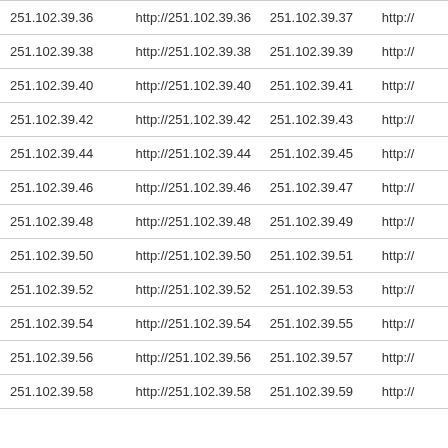| 251.102.39.36 | http://251.102.39.36 | 251.102.39.37 | http:// |
| 251.102.39.38 | http://251.102.39.38 | 251.102.39.39 | http:// |
| 251.102.39.40 | http://251.102.39.40 | 251.102.39.41 | http:// |
| 251.102.39.42 | http://251.102.39.42 | 251.102.39.43 | http:// |
| 251.102.39.44 | http://251.102.39.44 | 251.102.39.45 | http:// |
| 251.102.39.46 | http://251.102.39.46 | 251.102.39.47 | http:// |
| 251.102.39.48 | http://251.102.39.48 | 251.102.39.49 | http:// |
| 251.102.39.50 | http://251.102.39.50 | 251.102.39.51 | http:// |
| 251.102.39.52 | http://251.102.39.52 | 251.102.39.53 | http:// |
| 251.102.39.54 | http://251.102.39.54 | 251.102.39.55 | http:// |
| 251.102.39.56 | http://251.102.39.56 | 251.102.39.57 | http:// |
| 251.102.39.58 | http://251.102.39.58 | 251.102.39.59 | http:// |